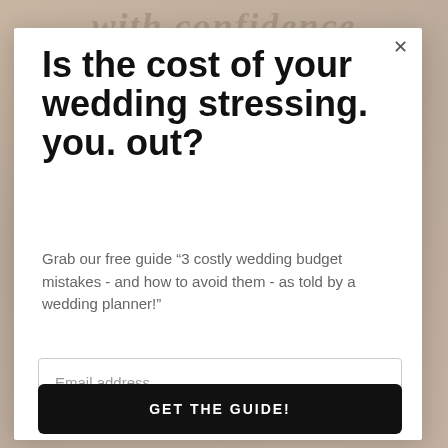[Figure (screenshot): Background image with light beige/tan texture and partial cursive text 'with confidence' at the top]
Is the cost of your wedding stressing. you. out?
Grab our free guide “3 costly wedding budget mistakes - and how to avoid them - as told by a wedding planner!”
Email address
GET THE GUIDE!